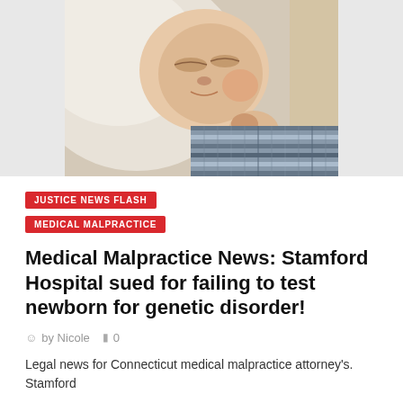[Figure (photo): Close-up photo of a sleeping newborn baby wearing a striped outfit, resting on white fabric.]
JUSTICE NEWS FLASH
MEDICAL MALPRACTICE
Medical Malpractice News: Stamford Hospital sued for failing to test newborn for genetic disorder!
by Nicole  0
Legal news for Connecticut medical malpractice attorney's. Stamford